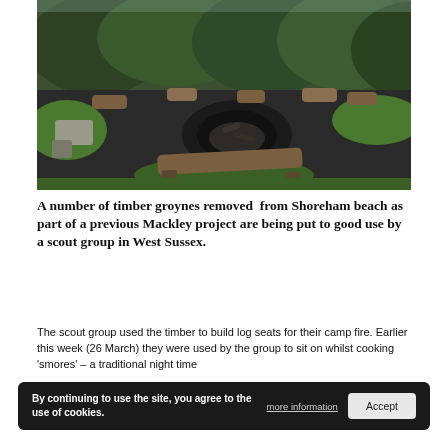[Figure (photo): Outdoor campfire area with wooden log benches arranged in a circle on a gravel/dark ground, surrounded by grass, with dense green hedges/trees in the background. A burnt fire pit is visible in the center.]
A number of timber groynes removed from Shoreham beach as part of a previous Mackley project are being put to good use by a scout group in West Sussex.
The scout group used the timber to build log seats for their camp fire. Earlier this week (26 March) they were used by the group to sit on whilst cooking 'smores' – a traditional night time
By continuing to use the site, you agree to the use of cookies.